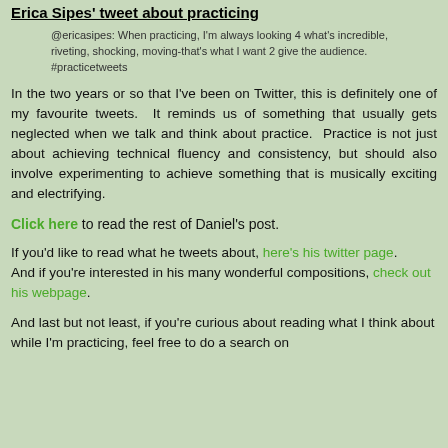Erica Sipes' tweet about practicing
@ericasipes: When practicing, I'm always looking 4 what's incredible, riveting, shocking, moving-that's what I want 2 give the audience.  #practicetweets
In the two years or so that I've been on Twitter, this is definitely one of my favourite tweets.  It reminds us of something that usually gets neglected when we talk and think about practice.  Practice is not just about achieving technical fluency and consistency, but should also involve experimenting to achieve something that is musically exciting and electrifying.
Click here to read the rest of Daniel's post.
If you'd like to read what he tweets about, here's his twitter page.
And if you're interested in his many wonderful compositions, check out his webpage.
And last but not least, if you're curious about reading what I think about while I'm practicing, feel free to do a search on